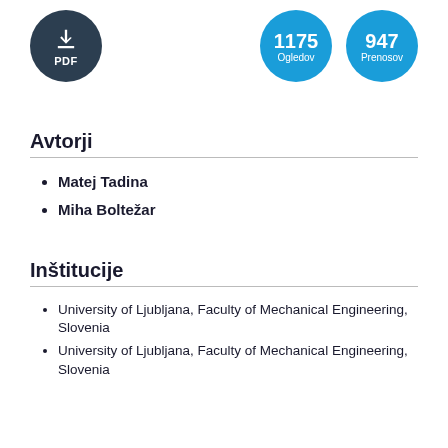[Figure (infographic): Three circles: dark circle with PDF download icon, blue circle showing '1175 Ogledov', blue circle showing '947 Prenosov']
Avtorji
Matej Tadina
Miha Boltežar
Inštitucije
University of Ljubljana, Faculty of Mechanical Engineering, Slovenia
University of Ljubljana, Faculty of Mechanical Engineering, Slovenia